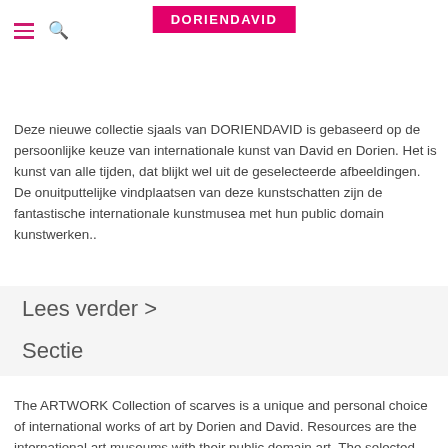DORIENDAVID
Deze nieuwe collectie sjaals van DORIENDAVID is gebaseerd op de persoonlijke keuze van internationale kunst van David en Dorien. Het is kunst van alle tijden, dat blijkt wel uit de geselecteerde afbeeldingen. De onuitputtelijke vindplaatsen van deze kunstschatten zijn de fantastische internationale kunstmusea met hun public domain kunstwerken..
Lees verder >
Sectie
The ARTWORK Collection of scarves is a unique and personal choice of international works of art by Dorien and David. Resources are the international art museums with their public domain art. The selected works of art are from all times.